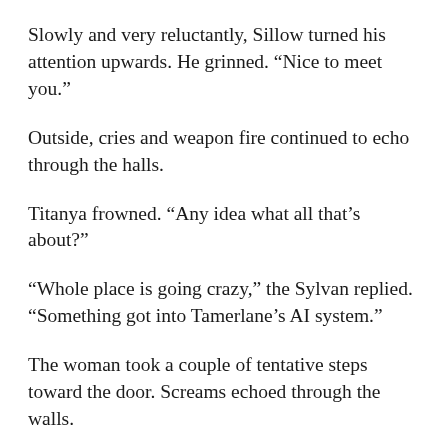Slowly and very reluctantly, Sillow turned his attention upwards. He grinned. “Nice to meet you.”
Outside, cries and weapon fire continued to echo through the halls.
Titanya frowned. “Any idea what all that’s about?”
“Whole place is going crazy,” the Sylvan replied. “Something got into Tamerlane’s AI system.”
The woman took a couple of tentative steps toward the door. Screams echoed through the walls.
“Sounds like a warzone out there,” she remarked. “You sure the AI is causing all this?”
Sillow frowned. “You know, this is going to sound kind of crazy